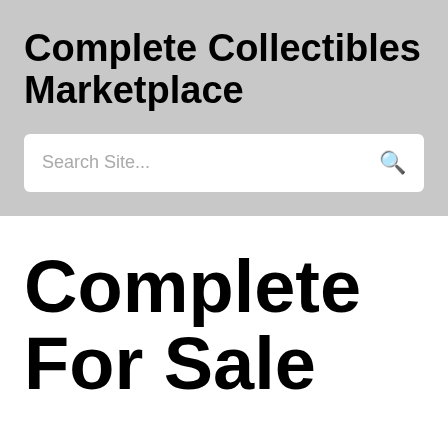Complete Collectibles Marketplace
Search Site...
Complete For Sale